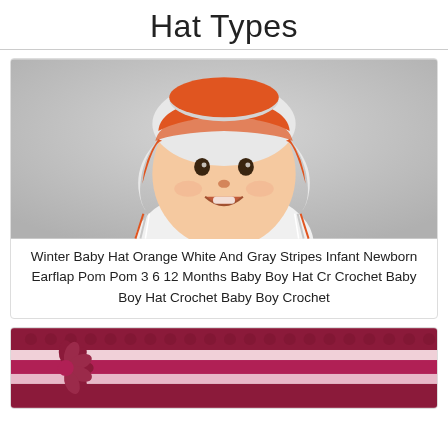Hat Types
[Figure (photo): Baby wearing an orange, white, and gray striped crochet earflap hat with pom pom tassels, smiling, dressed in white onesie, lying on white fabric background.]
Winter Baby Hat Orange White And Gray Stripes Infant Newborn Earflap Pom Pom 3 6 12 Months Baby Boy Hat Cr Crochet Baby Boy Hat Crochet Baby Boy Crochet
[Figure (photo): Close-up of a cranberry/pink and white striped crochet baby hat with a large flower embellishment on the left side.]